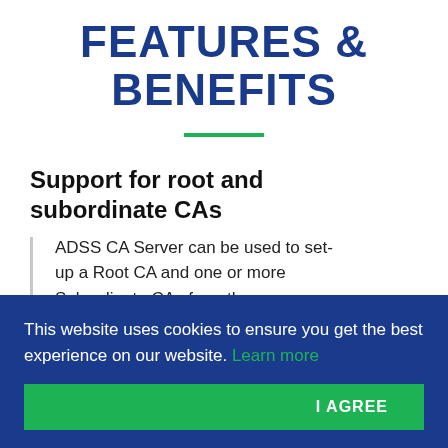FEATURES & BENEFITS
Support for root and subordinate CAs
ADSS CA Server can be used to set-up a Root CA and one or more Subordinate CAs from the same
This website uses cookies to ensure you get the best experience on our website. Learn more
I AGREE